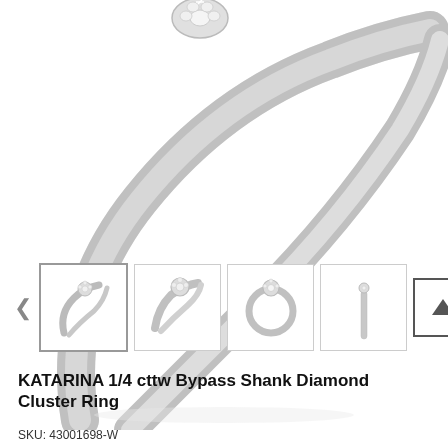[Figure (photo): Close-up top view of a silver diamond cluster bypass shank ring, showing the band curving from lower left to upper right, with a small diamond cluster setting partially visible at the top center.]
[Figure (photo): Thumbnail row with 4 small product photos of the ring from different angles: angled front view, angled 3/4 view, top-down ring circle view, and side profile view. Navigation arrows on left and right. Up-arrow button on far right.]
KATARINA 1/4 cttw Bypass Shank Diamond Cluster Ring
SKU: 43001698-W